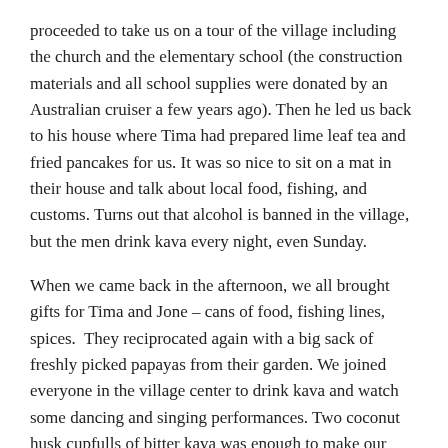proceeded to take us on a tour of the village including the church and the elementary school (the construction materials and all school supplies were donated by an Australian cruiser a few years ago). Then he led us back to his house where Tima had prepared lime leaf tea and fried pancakes for us. It was so nice to sit on a mat in their house and talk about local food, fishing, and customs. Turns out that alcohol is banned in the village, but the men drink kava every night, even Sunday.
When we came back in the afternoon, we all brought gifts for Tima and Jone – cans of food, fishing lines, spices.  They reciprocated again with a big sack of freshly picked papayas from their garden. We joined everyone in the village center to drink kava and watch some dancing and singing performances. Two coconut husk cupfulls of bitter kava was enough to make our tongues go numb and two hours later we all felt very tired and lethargic so went to bed early! All in all, it was a great day and lovely experience.